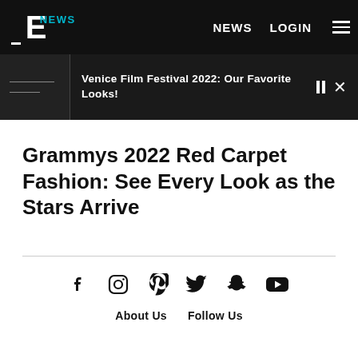E NEWS   NEWS   LOGIN
Venice Film Festival 2022: Our Favorite Looks!
Grammys 2022 Red Carpet Fashion: See Every Look as the Stars Arrive
[Figure (other): Social media icons: Facebook, Instagram, Pinterest, Twitter, Snapchat, YouTube]
About Us   Follow Us